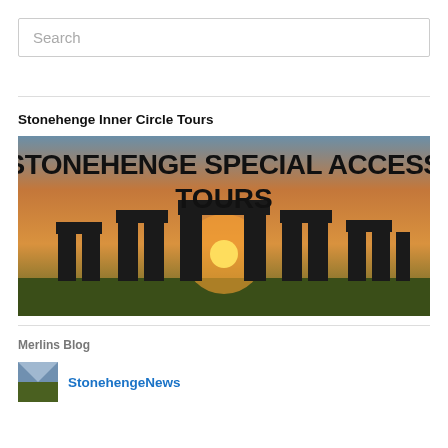Search
Stonehenge Inner Circle Tours
[Figure (photo): Stonehenge Special Access Tours advertisement image showing silhouette of Stonehenge stones at sunset with text 'STONEHENGE SPECIAL ACCESS TOURS' overlaid in bold black font]
Merlins Blog
StonehengeNews